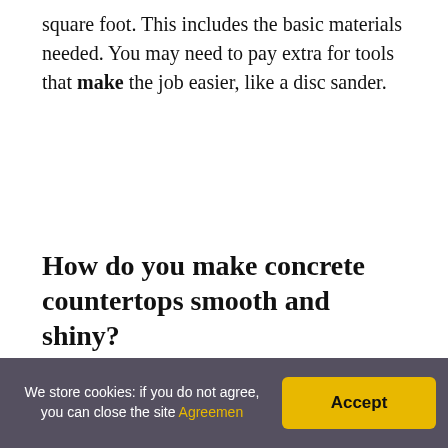square foot. This includes the basic materials needed. You may need to pay extra for tools that make the job easier, like a disc sander.
How do you make concrete countertops smooth and shiny?
We recommend filling in the low spots first and then applying a final top coat over the entire surface. Finally, you can apply epoxy over the concrete. This will fill in any rough areas making it smooth to the touch. You can
We store cookies: if you do not agree, you can close the site Agreemen